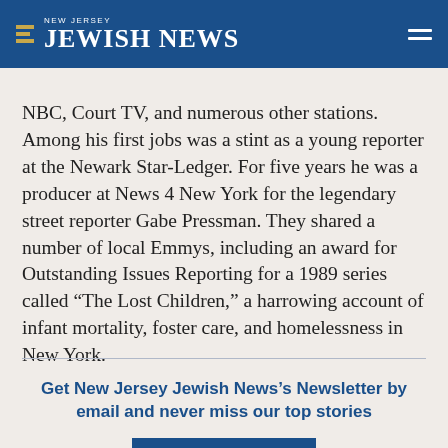NEW JERSEY JEWISH NEWS
NBC, Court TV, and numerous other stations. Among his first jobs was a stint as a young reporter at the Newark Star-Ledger. For five years he was a producer at News 4 New York for the legendary street reporter Gabe Pressman. They shared a number of local Emmys, including an award for Outstanding Issues Reporting for a 1989 series called “The Lost Children,” a harrowing account of infant mortality, foster care, and homelessness in New York.
Get New Jersey Jewish News’s Newsletter by email and never miss our top stories